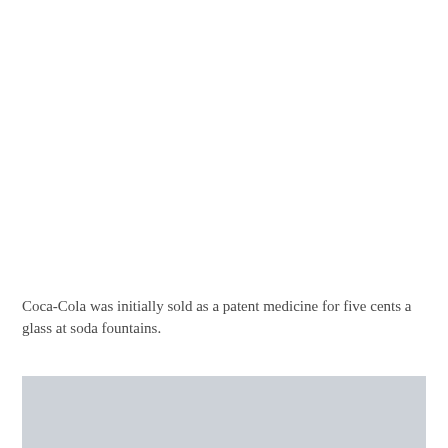Coca-Cola was initially sold as a patent medicine for five cents a glass at soda fountains.
[Figure (photo): A partially visible grey/light blue rectangular image placeholder at the bottom of the page.]